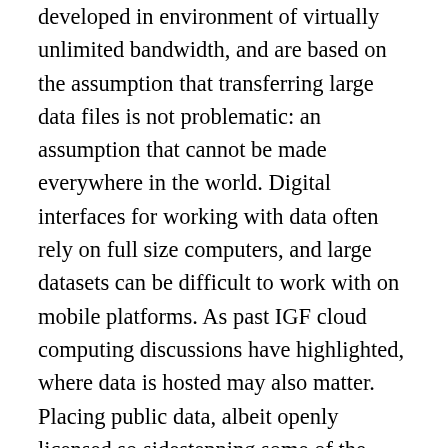developed in environment of virtually unlimited bandwidth, and are based on the assumption that transferring large data files is not problematic: an assumption that cannot be made everywhere in the world. Digital interfaces for working with data often rely on full size computers, and large datasets can be difficult to work with on mobile platforms. As past IGF cloud computing discussions have highlighted, where data is hosted may also matter. Placing public data, albeit openly licensed so sidestepping some of the legal issues, into cloud hosting, could have impacts on the accessibility, and the costs of a access, to that data. How far this becomes an issue may depend on the scale of open data programmes, which as yet can only constitute a very small